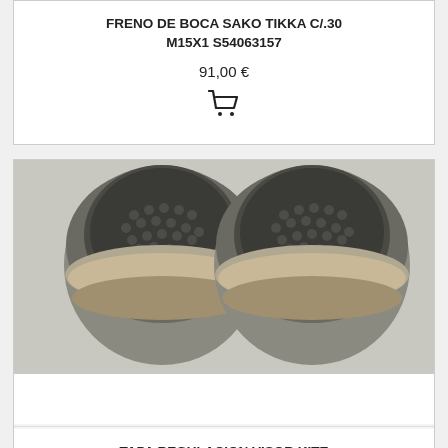FRENO DE BOCA SAKO TIKKA C/.30 M15X1 S54063157
91,00 €
[Figure (photo): Two round metallic muzzle brake caps with textured dark grey pattern on top, viewed from above, against a light background.]
TAPA REGULACION VISOR KITE ACABADO BROWNING ZENITH (2 UNIDADES)
30,00 €